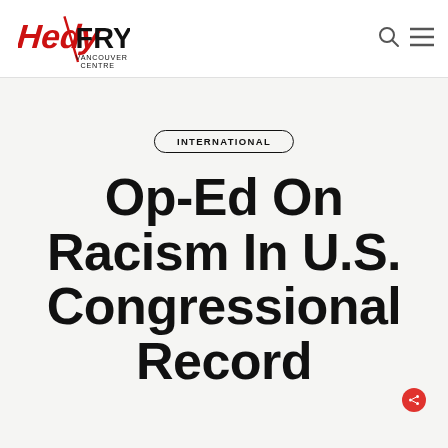Hedy Fry Vancouver Centre — navigation header with logo, search icon, and menu icon
INTERNATIONAL
Op-Ed On Racism In U.S. Congressional Record